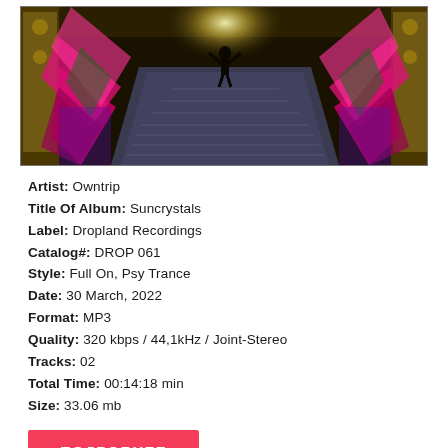[Figure (photo): Album art showing a grand staircase leading up to a silhouetted figure with arms raised, flanked by ornate temple columns and vivid pink/purple/green lighting against a dark background.]
Artist: Owntrip
Title Of Album: Suncrystals
Label: Dropland Recordings
Catalog#: DROP 061
Style: Full On, Psy Trance
Date: 30 March, 2022
Format: MP3
Quality: 320 kbps / 44,1kHz / Joint-Stereo
Tracks: 02
Total Time: 00:14:18 min
Size: 33.06 mb
ПОДРОБНЕЕ